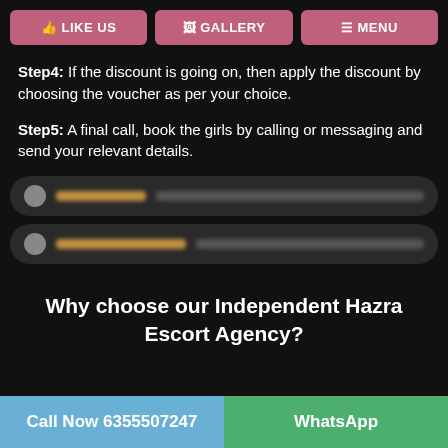LIKE US | GALLERY | MENU
Step4: If the discount is going on, then apply the discount by choosing the voucher as per your choice.
Step5: A final call, book the girls by calling or messaging and send your relevant details.
[Figure (other): Two blurred rows with redacted contact/link information on dark background]
Why choose our Independent Hazra Escort Agency?
Call Now 6355507247 | WhatsApp